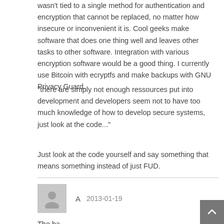wasn't tied to a single method for authentication and encryption that cannot be replaced, no matter how insecure or inconvenient it is. Cool geeks make software that does one thing well and leaves other tasks to other software. Integration with various encryption software would be a good thing. I currently use Bitcoin with ecryptfs and make backups with GNU Privacy Guard.
"there are simply not enough ressources put into development and developers seem not to have too much knowledge of how to develop secure systems, just look at the code..."
Just look at the code yourself and say something that means something instead of just FUD.
A   2013-01-19
The ba...